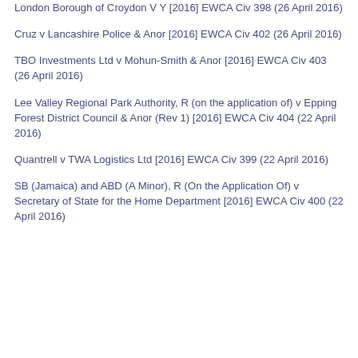London Borough of Croydon V Y [2016] EWCA Civ 398 (26 April 2016)
Cruz v Lancashire Police & Anor [2016] EWCA Civ 402 (26 April 2016)
TBO Investments Ltd v Mohun-Smith & Anor [2016] EWCA Civ 403 (26 April 2016)
Lee Valley Regional Park Authority, R (on the application of) v Epping Forest District Council & Anor (Rev 1) [2016] EWCA Civ 404 (22 April 2016)
Quantrell v TWA Logistics Ltd [2016] EWCA Civ 399 (22 April 2016)
SB (Jamaica) and ABD (A Minor), R (On the Application Of) v Secretary of State for the Home Department [2016] EWCA Civ 400 (22 April 2016)